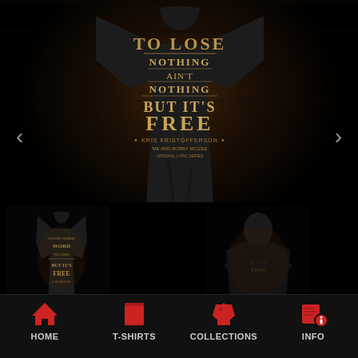[Figure (photo): Dark background product page showing a black t-shirt with gold vintage western text design reading 'Nothing To Lose Nothing Ain't Nothing But It's Free - Kris Kristofferson'. Main large image in center, two smaller thumbnail images below. Navigation chevrons on left and right sides.]
HOME  T-SHIRTS  COLLECTIONS  INFO